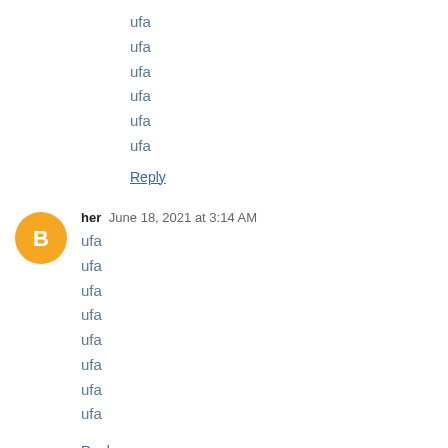ufa
ufa
ufa
ufa
ufa
ufa
Reply
her  June 18, 2021 at 3:14 AM
ufa
ufa
ufa
ufa
ufa
ufa
ufa
ufa
Reply